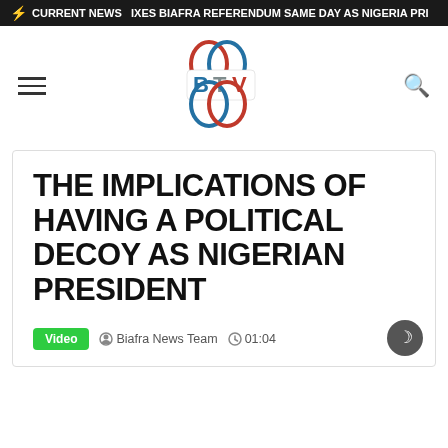⚡ CURRENT NEWS   IXES BIAFRA REFERENDUM SAME DAY AS NIGERIA PRI
[Figure (logo): BTV (Biafra Television) logo with stylized colorful rings and bold B, T, V letters in blue, red, and gray]
THE IMPLICATIONS OF HAVING A POLITICAL DECOY AS NIGERIAN PRESIDENT
Video   Biafra News Team   01:04